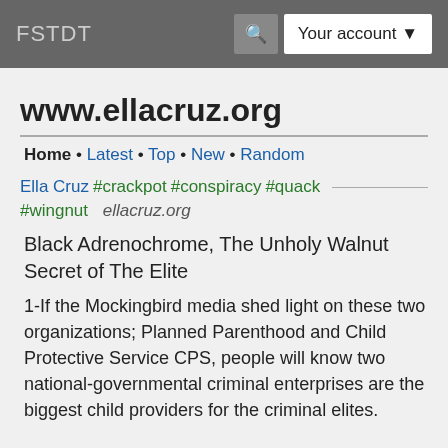FSTDT   🔍  Your account ▼
www.ellacruz.org
Home • Latest • Top • New • Random
Ella Cruz  #crackpot  #conspiracy  #quack
#wingnut   ellacruz.org
Black Adrenochrome, The Unholy Walnut Secret of The Elite
1-If the Mockingbird media shed light on these two organizations; Planned Parenthood and Child Protective Service CPS, people will know two national-governmental criminal enterprises are the biggest child providers for the criminal elites.